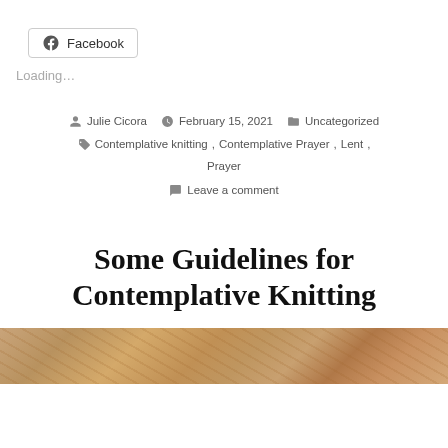[Figure (other): Facebook share button with Facebook logo icon]
Loading...
By Julie Cicora  February 15, 2021  Uncategorized  Contemplative knitting, Contemplative Prayer, Lent, Prayer  Leave a comment
Some Guidelines for Contemplative Knitting
[Figure (photo): Wood texture / wooden surface photo strip at bottom of page]